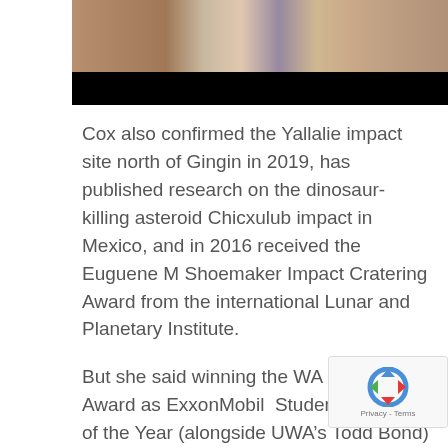[Figure (photo): Partial photograph showing people, partially obscured by a black bar at the bottom. The upper portion shows what appears to be rocks or geological features on the left, and people wearing casual clothing on the right.]
Cox also confirmed the Yallalie impact site north of Gingin in 2019, has published research on the dinosaur-killing asteroid Chicxulub impact in Mexico, and in 2016 received the Euguene M Shoemaker Impact Cratering Award from the international Lunar and Planetary Institute.
But she said winning the WA Premier’s Award as ExxonMobil  Student Scientist of the Year (alongside UWA’s Todd Bond) was a particular thrill for her family.
“I wasn’t expecting to win, so I was over the moon,” she said.
“But I think my parents were even more excited than